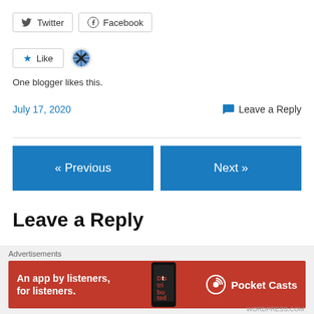[Figure (screenshot): Twitter and Facebook social share buttons]
[Figure (screenshot): Like button with blue star and avatar circle; text 'One blogger likes this.']
One blogger likes this.
July 17, 2020
Leave a Reply
[Figure (screenshot): Previous and Next navigation buttons in blue]
Leave a Reply
Your email address will not be published. Required fields
[Figure (screenshot): Advertisement banner: Pocket Casts - An app by listeners, for listeners.]